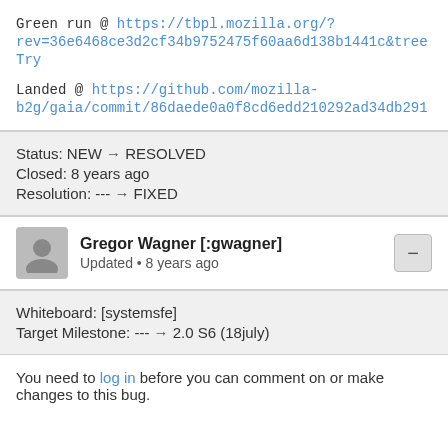Green run @ https://tbpl.mozilla.org/?rev=36e6468ce3d2cf34b9752475f60aa6d138b1441c&tree=Try
Landed @ https://github.com/mozilla-b2g/gaia/commit/86daede0a0f8cd6edd210292ad34db29...
Status: NEW → RESOLVED
Closed: 8 years ago
Resolution: --- → FIXED
Gregor Wagner [:gwagner]
Updated • 8 years ago
Whiteboard: [systemsfe]
Target Milestone: --- → 2.0 S6 (18july)
You need to log in before you can comment on or make changes to this bug.